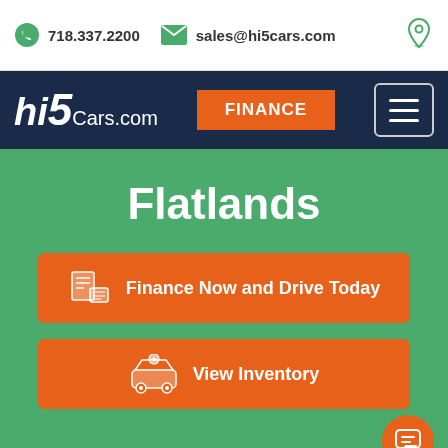718.337.2200   sales@hi5cars.com
[Figure (logo): hi5Cars.com logo in white text on dark navy background]
FINANCE
Flatlands
Finance Now and Drive Today
View Inventory